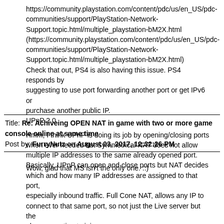https://community.playstation.com/content/pdc/us/en_US/pdc-communities/support/PlayStation-Network-Support.topic.html/multiple_playstation-bM2X.html (https://community.playstation.com/content/pdc/us/en_US/pdc-communities/support/PlayStation-Network-Support.topic.html/multiple_playstation-bM2X.html) Check that out, PS4 is also having this issue. PS4 responds by suggesting to use port forwarding another port or get IPv6 or purchase another public IP.
UPnP 2.0 Hmm, I think UPnP is doing its job by opening/closing ports when ever needed but Symmetrical NAT does not allow multiple IP addresses to the same already opened port. Basically, UPnP can open and close ports but NAT decides which and how many IP addresses are assigned to that port, especially inbound traffic. Full Cone NAT, allows any IP to connect to that same port, so not just the Live server but the players wanting to join.
Title: Re: Achiveing OPEN NAT in game with two or more game console online at same time
Post by: FurryNutz on August 03, 2017, 12:32:26 PM
Wow, glad that MS isn't the only one.  ::)